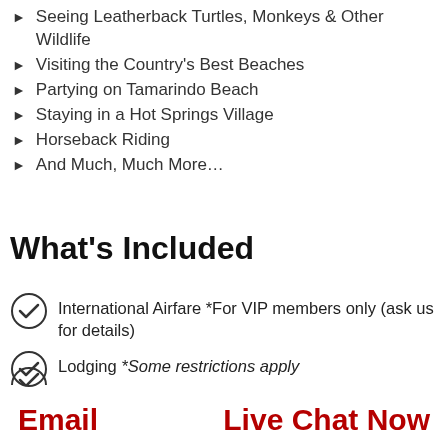Seeing Leatherback Turtles, Monkeys & Other Wildlife
Visiting the Country's Best Beaches
Partying on Tamarindo Beach
Staying in a Hot Springs Village
Horseback Riding
And Much, Much More…
What's Included
International Airfare *For VIP members only (ask us for details)
Lodging *Some restrictions apply
English-Speaking Tour Guides
Email    Live Chat Now